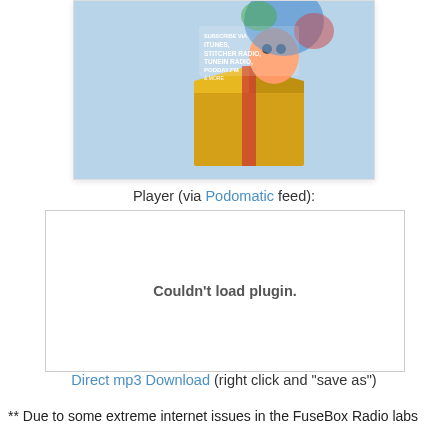[Figure (illustration): Podcast subscribe graphic showing a golden box/gift with cartoon character and text: SUBSCRIBE VIA ITUNES, STITCHER RADIO, TUNEIN RADIO, PODDAY.FM & MORE]
Player (via Podomatic feed):
Couldn't load plugin.
Direct mp3 Download (right click and "save as")
** Due to some extreme internet issues in the FuseBox Radio labs